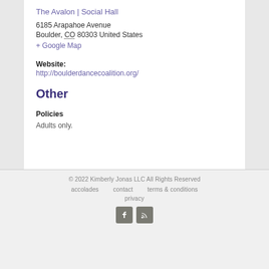The Avalon | Social Hall
6185 Arapahoe Avenue
Boulder, CO 80303 United States
+ Google Map
Website: http://boulderdancecoalition.org/
Other
Policies
Adults only.
© 2022 Kimberly Jonas LLC All Rights Reserved
accolades   contact   terms & conditions
privacy